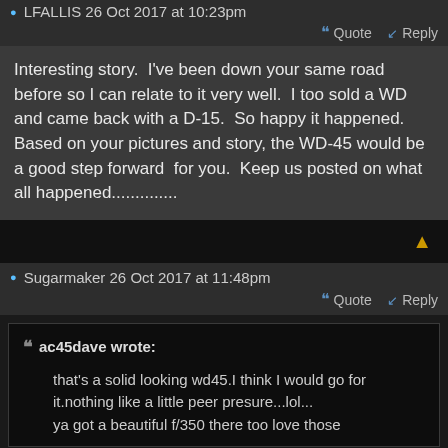LFALLIS 26 Oct 2017 at 10:23pm
Interesting story.  I've been down your same road before so I can relate to it very well.  I too sold a WD and came back with a D-15.  So happy it happened.  Based on your pictures and story, the WD-45 would be a good step forward  for you.  Keep us posted on what all happened..............
Sugarmaker 26 Oct 2017 at 11:48pm
ac45dave wrote: that's a solid looking wd45.I think I would go for it.nothing like a little peer presure...lol... ya got a beautiful f/350 there too love those